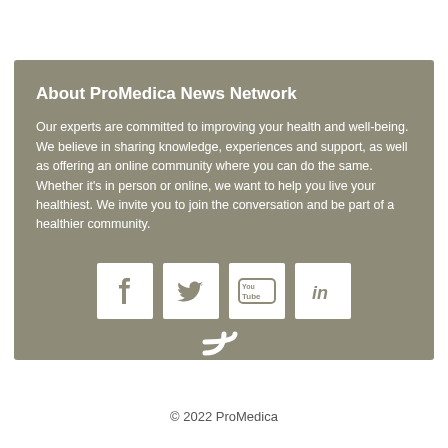About ProMedica News Network
Our experts are committed to improving your health and well-being. We believe in sharing knowledge, experiences and support, as well as offering an online community where you can do the same. Whether it's in person or online, we want to help you live your healthiest. We invite you to join the conversation and be part of a healthier community.
[Figure (infographic): Social media icons: Facebook, Twitter, YouTube, LinkedIn, and RSS feed]
© 2022 ProMedica